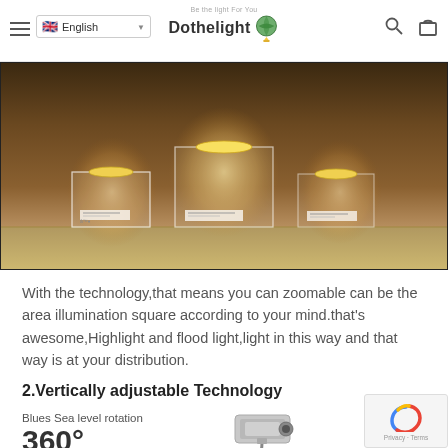English | Dothelight
[Figure (photo): Three museum display cases with transparent glass boxes containing gold disc artifacts, illuminated by spotlights from above, displayed on a shelf with warm lighting]
With the technology,that means you can zoomable can be the area illumination square according to your mind.that's awesome,Highlight and flood light,light in this way and that way is at your distribution.
2.Vertically adjustable Technology
Blues Sea level rotation
360°